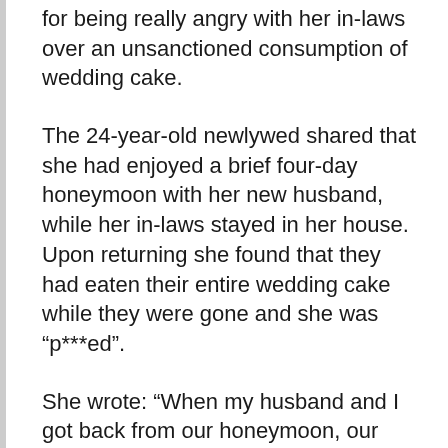for being really angry with her in-laws over an unsanctioned consumption of wedding cake.
The 24-year-old newlywed shared that she had enjoyed a brief four-day honeymoon with her new husband, while her in-laws stayed in her house. Upon returning she found that they had eaten their entire wedding cake while they were gone and she was “p***ed”.
She wrote: “When my husband and I got back from our honeymoon, our cake was gone. The cake wasn’t necessarily crazy expensive, however, we had clearly mentioned we wanted to save it.
“When confronted, my in-laws said that saving a wedding cake for a year is disgusting and